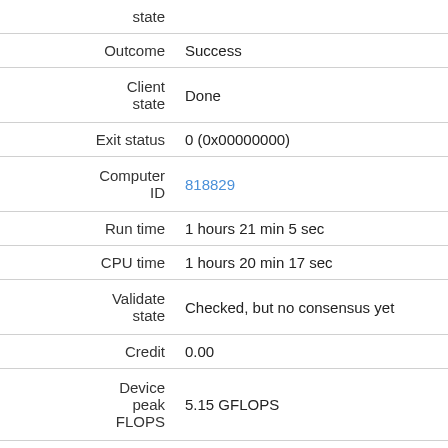| Field | Value |
| --- | --- |
| state |  |
| Outcome | Success |
| Client state | Done |
| Exit status | 0 (0x00000000) |
| Computer ID | 818829 |
| Run time | 1 hours 21 min 5 sec |
| CPU time | 1 hours 20 min 17 sec |
| Validate state | Checked, but no consensus yet |
| Credit | 0.00 |
| Device peak FLOPS | 5.15 GFLOPS |
| Application version | Milkyway@home Separation v1.46 x86_64-apple-darwin |